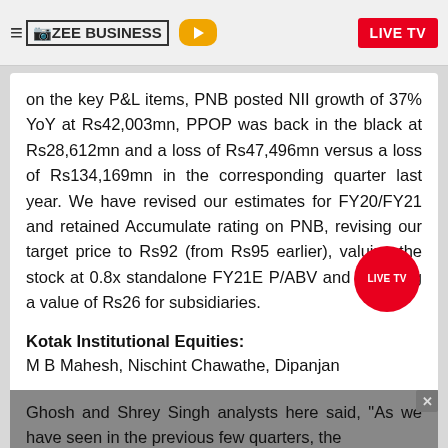ZEE BUSINESS | LIVE TV
on the key P&L items, PNB posted NII growth of 37% YoY at Rs42,003mn, PPOP was back in the black at Rs28,612mn and a loss of Rs47,496mn versus a loss of Rs134,169mn in the corresponding quarter last year. We have revised our estimates for FY20/FY21 and retained Accumulate rating on PNB, revising our target price to Rs92 (from Rs95 earlier), valuing the stock at 0.8x standalone FY21E P/ABV and ascribing a value of Rs26 for subsidiaries.
Kotak Institutional Equities:
M B Mahesh, Nischint Chawathe, Dipanjan Ghosh and Shrey Singh analysts here said, "As we have seen in the previous few quarters, the